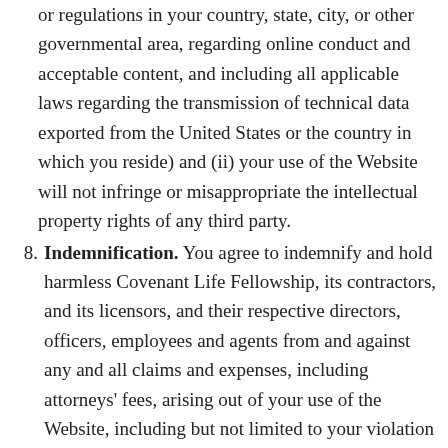or regulations in your country, state, city, or other governmental area, regarding online conduct and acceptable content, and including all applicable laws regarding the transmission of technical data exported from the United States or the country in which you reside) and (ii) your use of the Website will not infringe or misappropriate the intellectual property rights of any third party.
8. Indemnification. You agree to indemnify and hold harmless Covenant Life Fellowship, its contractors, and its licensors, and their respective directors, officers, employees and agents from and against any and all claims and expenses, including attorneys' fees, arising out of your use of the Website, including but not limited to your violation of this Agreement